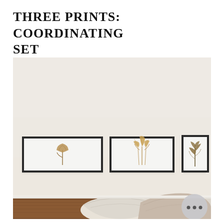THREE PRINTS: COORDINATING SET
[Figure (photo): Interior lifestyle photo showing three framed botanical prints hanging on a cream/beige wall above a wooden headboard with neutral linen pillows. Each print features a different dried botanical illustration on a white background with a thin dark frame. Left print shows a dried tulip, middle shows pampas grass/wheat, right shows a leafy botanical sprig.]